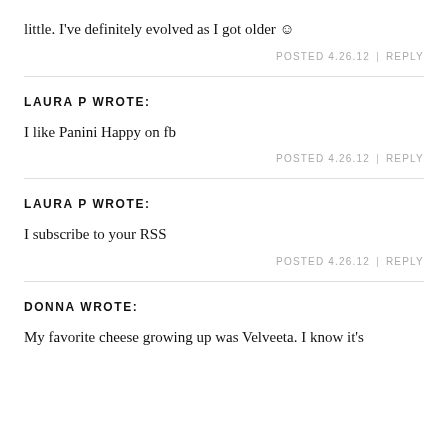little. I've definitely evolved as I got older ☺
POSTED 4.26.12  |  REPLY
LAURA P WROTE:
I like Panini Happy on fb
POSTED 4.26.12  |  REPLY
LAURA P WROTE:
I subscribe to your RSS
POSTED 4.26.12  |  REPLY
DONNA WROTE:
My favorite cheese growing up was Velveeta. I know it's